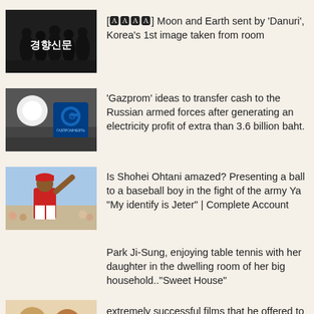[Figure (photo): Korean newspaper 경향신문 logo on dark background with people silhouettes]
[경향신문] Moon and Earth sent by 'Danuri', Korea's 1st image taken from room
[Figure (photo): Gazprom sign with blue G logo on dark background]
'Gazprom' ideas to transfer cash to the Russian armed forces after generating an electricity profit of extra than 3.6 billion baht.
[Figure (photo): Baseball player in red uniform raising arm]
Is Shohei Ohtani amazed? Presenting a ball to a baseball boy in the fight of the army Ya "My identify is Jeter" | Complete Account
Park Ji-Sung, enjoying table tennis with her daughter in the dwelling room of her big household.."Sweet House"
[Figure (photo): Two people smiling, partial view cut off at bottom]
extremely successful films that he offered to actor, Jayaram: from your